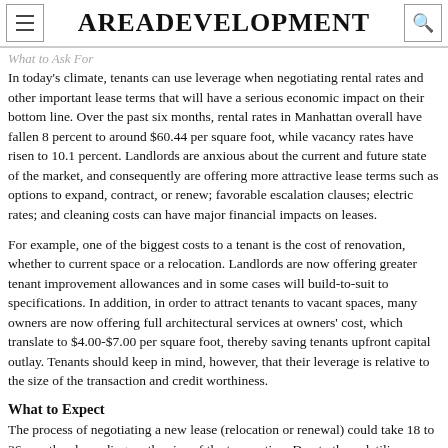AreaDevelopment
What to Ask For
In today's climate, tenants can use leverage when negotiating rental rates and other important lease terms that will have a serious economic impact on their bottom line. Over the past six months, rental rates in Manhattan overall have fallen 8 percent to around $60.44 per square foot, while vacancy rates have risen to 10.1 percent. Landlords are anxious about the current and future state of the market, and consequently are offering more attractive lease terms — such as options to expand, contract, or renew; favorable escalation clauses; electric rates; and cleaning costs can have major financial impacts on long-term leases.
For example, one of the biggest costs to a tenant is the cost of renovation — whether to current space or a relocation. Landlords are now offering greater tenant improvement allowances and in some cases will build-to-suit to a tenant's specifications. In addition, in order to attract tenants to vacant spaces, many owners are now offering full architectural services at owners' cost, which can translate to $4.00-$7.00 per square foot, thereby saving tenants upfront capital outlay. Tenants should keep in mind, however, that their leverage is relative to the size of the transaction and credit worthiness.
What to Expect
The process of negotiating a new lease (relocation or renewal) could take 18 to 36 months, depending on the size of the transaction. Due to the volatili...